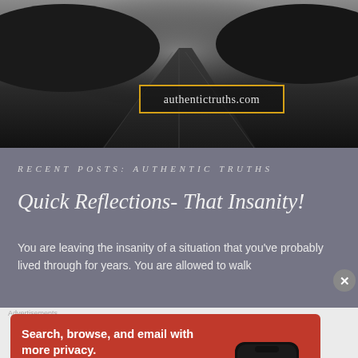[Figure (photo): Black and white photograph of a road receding into the distance between dark hills or trees, with a URL overlay box reading authentictruths.com]
RECENT POSTS: AUTHENTIC TRUTHS
Quick Reflections- That Insanity!
You are leaving the insanity of a situation that you've probably lived through for years. You are allowed to walk
[Figure (screenshot): DuckDuckGo advertisement banner with orange/red background. Text reads: Search, browse, and email with more privacy. All in One Free App. Shows a smartphone with DuckDuckGo logo.]